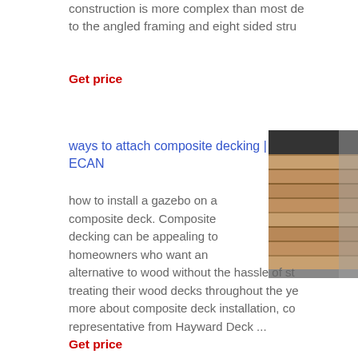construction is more complex than most de to the angled framing and eight sided stru
Get price
ways to attach composite decking | ECAN
[Figure (photo): Close-up photo of composite decking boards showing wood-grain texture in brown and gray tones]
how to install a gazebo on a composite deck. Composite decking can be appealing to homeowners who want an alternative to wood without the hassle of st treating their wood decks throughout the ye more about composite deck installation, co representative from Hayward Deck ...
Get price